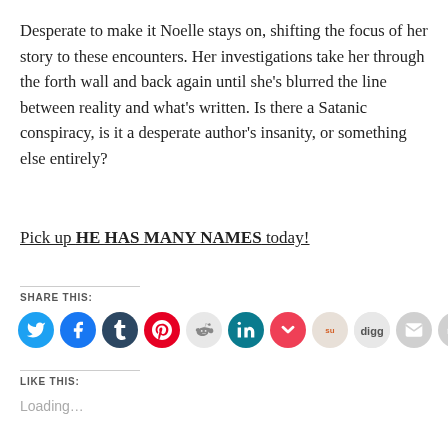Desperate to make it Noelle stays on, shifting the focus of her story to these encounters. Her investigations take her through the forth wall and back again until she's blurred the line between reality and what's written. Is there a Satanic conspiracy, is it a desperate author's insanity, or something else entirely?
Pick up HE HAS MANY NAMES today!
SHARE THIS:
[Figure (infographic): Row of social media sharing icon buttons: Twitter (blue), Facebook (blue), Tumblr (dark blue), Pinterest (red), Reddit (light grey/pink), LinkedIn (teal), Pocket (red), StumbleUpon (orange), Digg (grey), Email (grey), Print (grey)]
LIKE THIS:
Loading...